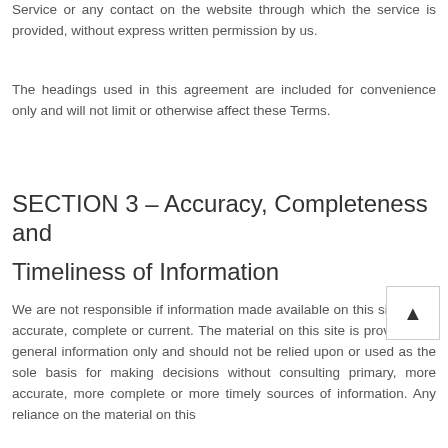Service or any contact on the website through which the service is provided, without express written permission by us.
The headings used in this agreement are included for convenience only and will not limit or otherwise affect these Terms.
SECTION 3 – Accuracy, Completeness and Timeliness of Information
We are not responsible if information made available on this site is not accurate, complete or current. The material on this site is provided for general information only and should not be relied upon or used as the sole basis for making decisions without consulting primary, more accurate, more complete or more timely sources of information. Any reliance on the material on this